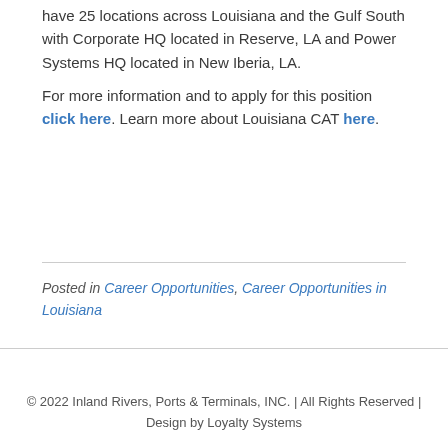have 25 locations across Louisiana and the Gulf South with Corporate HQ located in Reserve, LA and Power Systems HQ located in New Iberia, LA.
For more information and to apply for this position click here. Learn more about Louisiana CAT here.
Posted in Career Opportunities, Career Opportunities in Louisiana
© 2022 Inland Rivers, Ports & Terminals, INC. | All Rights Reserved | Design by Loyalty Systems